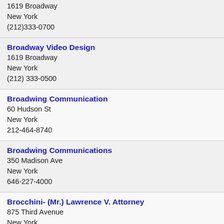1619 Broadway
New York
(212)333-0700
Broadway Video Design
1619 Broadway
New York
(212) 333-0500
Broadwing Communication
60 Hudson St
New York
212-464-8740
Broadwing Communications
350 Madison Ave
New York
646-227-4000
Brocchini- (Mr.) Lawrence V. Attorney
875 Third Avenue
New York
(212)918-3000
Brochin- Gregg L. Attorney